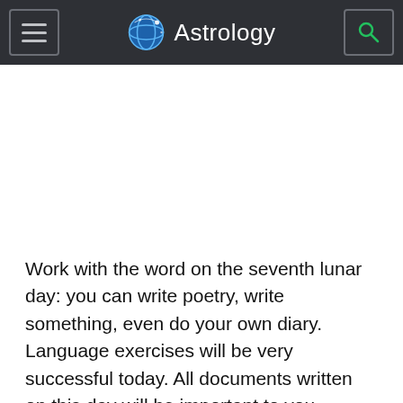Astrology
[Figure (other): Advertisement or blank white space area below the header navigation bar]
Work with the word on the seventh lunar day: you can write poetry, write something, even do your own diary. Language exercises will be very successful today. All documents written on this day will be important to you.
The energy of this day will enthrall you and even provoke...